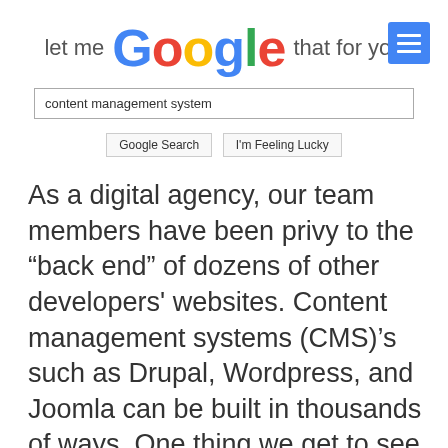[Figure (screenshot): "Let me Google that for you" website screenshot showing the Google logo with the text 'let me' before it and 'that for you' after it, a search box containing 'content management system', and Google Search / I'm Feeling Lucky buttons. A blue hamburger menu button appears in the top right.]
As a digital agency, our team members have been privy to the “back end” of dozens of other developers' websites. Content management systems (CMS)’s such as Drupal, Wordpress, and Joomla can be built in thousands of ways. One thing we get to see from behind these curtains is the huge difference between a good, architected, user-friendly administrator backend and